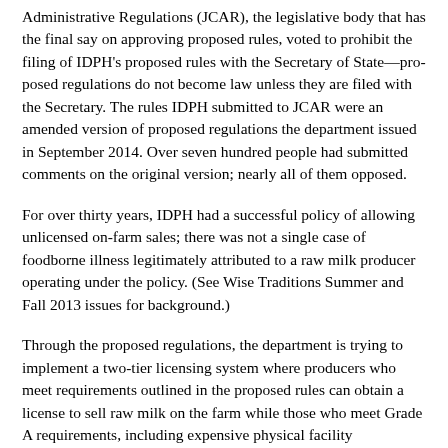Administrative Regulations (JCAR), the legislative body that has the final say on approving proposed rules, voted to prohibit the filing of IDPH's proposed rules with the Secretary of State—pro- posed regulations do not become law unless they are filed with the Secretary. The rules IDPH submitted to JCAR were an amended version of proposed regulations the department issued in September 2014. Over seven hundred people had submitted comments on the original version; nearly all of them opposed.
For over thirty years, IDPH had a successful policy of allowing unlicensed on-farm sales; there was not a single case of foodborne illness legitimately attributed to a raw milk producer operating under the policy. (See Wise Traditions Summer and Fall 2013 issues for background.)
Through the proposed regulations, the department is trying to implement a two-tier licensing system where producers who meet requirements outlined in the proposed rules can obtain a license to sell raw milk on the farm while those who meet Grade A requirements, including expensive physical facility requirements, can deliver and sell raw milk to off-farm customers. The proposed rules would require herdshare operations to